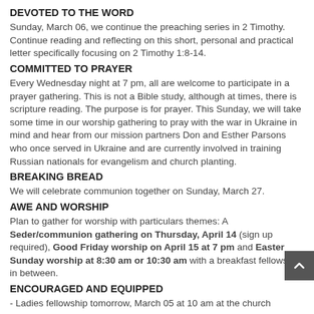DEVOTED TO THE WORD
Sunday, March 06, we continue the preaching series in 2 Timothy. Continue reading and reflecting on this short, personal and practical letter specifically focusing on 2 Timothy 1:8-14.
COMMITTED TO PRAYER
Every Wednesday night at 7 pm, all are welcome to participate in a prayer gathering. This is not a Bible study, although at times, there is scripture reading. The purpose is for prayer. This Sunday, we will take some time in our worship gathering to pray with the war in Ukraine in mind and hear from our mission partners Don and Esther Parsons who once served in Ukraine and are currently involved in training Russian nationals for evangelism and church planting.
BREAKING BREAD
We will celebrate communion together on Sunday, March 27.
AWE AND WORSHIP
Plan to gather for worship with particulars themes: A Seder/communion gathering on Thursday, April 14 (sign up required), Good Friday worship on April 15 at 7 pm and Easter Sunday worship at 8:30 am or 10:30 am with a breakfast fellowship in between.
ENCOURAGED AND EQUIPPED
- Ladies fellowship tomorrow, March 05 at 10 am at the church